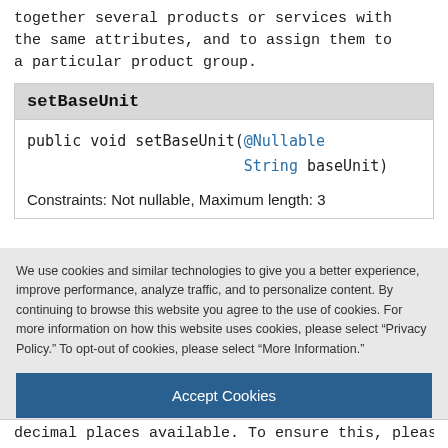together several products or services with the same attributes, and to assign them to a particular product group.
setBaseUnit
public void setBaseUnit(@Nullable String baseUnit)
Constraints: Not nullable, Maximum length: 3
We use cookies and similar technologies to give you a better experience, improve performance, analyze traffic, and to personalize content. By continuing to browse this website you agree to the use of cookies. For more information on how this website uses cookies, please select “Privacy Policy.” To opt-out of cookies, please select “More Information.”
Accept Cookies
More Information
Privacy Policy | Powered by: TrustArc
decimal places available. To ensure this, please